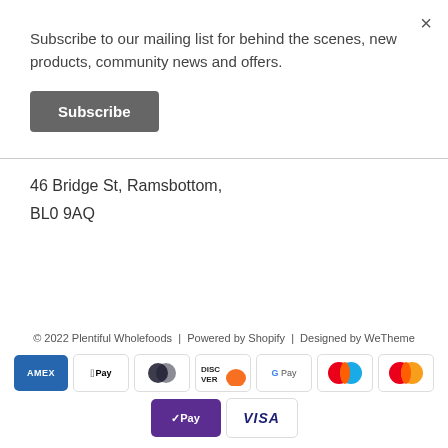×
Subscribe to our mailing list for behind the scenes, new products, community news and offers.
Subscribe
46 Bridge St, Ramsbottom,
BL0 9AQ
© 2022 Plentiful Wholefoods | Powered by Shopify | Designed by WeTheme
[Figure (other): Payment method icons: AMEX, Apple Pay, Diners Club, Discover, Google Pay, Mastercard (two variants), Shop Pay, Visa]